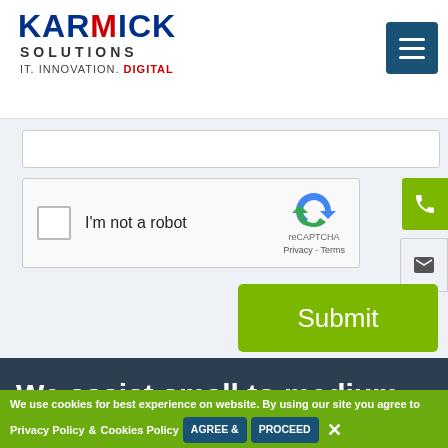[Figure (logo): Karmick Solutions logo with text IT. INNOVATION. DIGITAL and hamburger menu icon]
[Figure (screenshot): reCAPTCHA widget with checkbox and I'm not a robot text]
Submit
We assist small to medium
We use cookies for best experience on website. By using our site you agree to Privacy Policy & Cookies Policy AGREE & PROCEED ✕